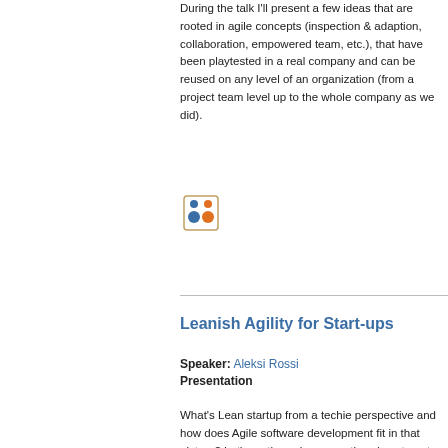During the talk I'll present a few ideas that are rooted in agile concepts (inspection & adaption, collaboration, empowered team, etc.), that have been playtested in a real company and can be reused on any level of an organization (from a project team level up to the whole company as we did).
[Figure (illustration): Small icon showing people/team collaboration symbol in orange and blue colors]
Leanish Agility for Start-ups
Speaker: Aleksi Rossi
Presentation
What's Lean startup from a techie perspective and how does Agile software development fit in that picture? Let's go through perspectives how to get best value out of them. If you are in a start-up or consider founding one, or if you need to develop new business in existing company,